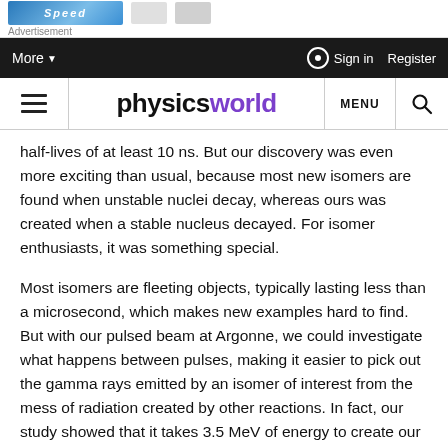[Figure (screenshot): Advertisement banner at top of page showing Speed-related advertisement with blue imagery]
More ▼    ⊙ Sign in  Register
≡  physicsworld  MENU 🔍
half-lives of at least 10 ns. But our discovery was even more exciting than usual, because most new isomers are found when unstable nuclei decay, whereas ours was created when a stable nucleus decayed. For isomer enthusiasts, it was something special.
Most isomers are fleeting objects, typically lasting less than a microsecond, which makes new examples hard to find. But with our pulsed beam at Argonne, we could investigate what happens between pulses, making it easier to pick out the gamma rays emitted by an isomer of interest from the mess of radiation created by other reactions. In fact, our study showed that it takes 3.5 MeV of energy to create our isomer by raising tungsten-186 from its ground to excited state. Later work